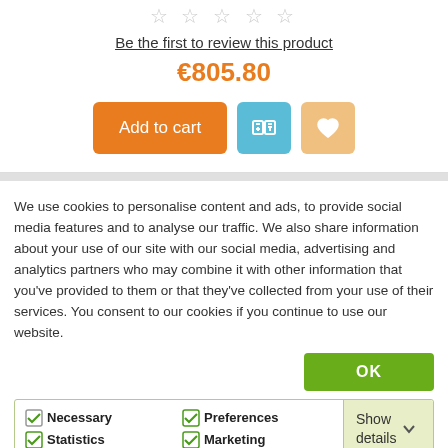Be the first to review this product
€805.80
Add to cart
We use cookies to personalise content and ads, to provide social media features and to analyse our traffic. We also share information about your use of our site with our social media, advertising and analytics partners who may combine it with other information that you've provided to them or that they've collected from your use of their services. You consent to our cookies if you continue to use our website.
OK
Necessary  Preferences  Statistics  Marketing  Show details